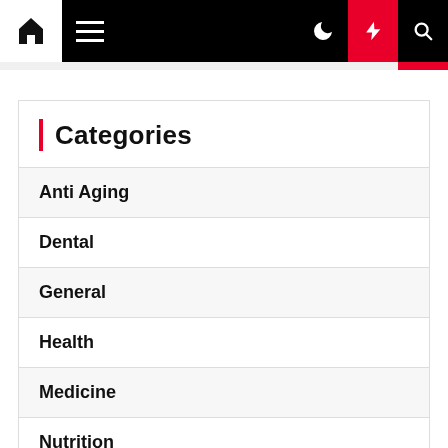Navigation bar with home, menu, moon, bolt, and search icons
Categories
Anti Aging
Dental
General
Health
Medicine
Nutrition
Yoga